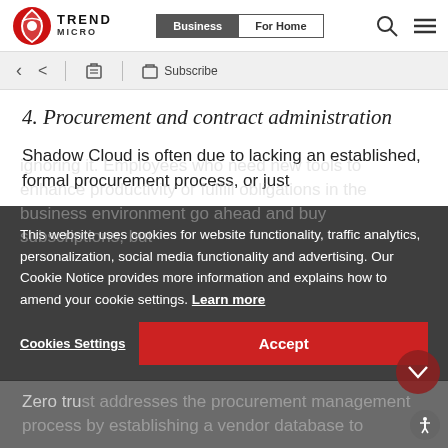[Figure (logo): Trend Micro logo with red circular icon and company name]
[Figure (screenshot): Navigation bar with Business and For Home tabs, search and menu icons]
[Figure (screenshot): Toolbar with back arrow, share, print, and subscribe icons on gray background]
4. Procurement and contract administration
Shadow Cloud is often due to lacking an established, formal procurement process, or just ignoring it. Employees who need new tools to enhance productivity or fulfill obligations in the business environment go ahead and buy subscriptions, but
[Figure (screenshot): Cookie consent banner overlay: This website uses cookies for website functionality, traffic analytics, personalization, social media functionality and advertising. Our Cookie Notice provides more information and explains how to amend your cookie settings. Learn more. Buttons: Cookies Settings and Accept]
Zero trust addresses the procurement management process by establishing a vendor database to